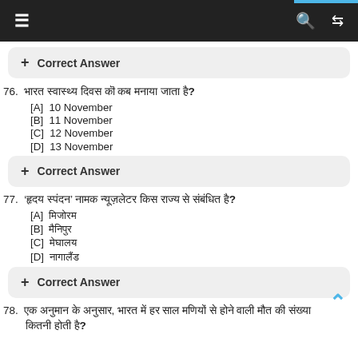Navigation bar with hamburger menu, search and shuffle icons
+ Correct Answer (button, top)
76. [Hindi text question about November date]
[A] 10 November
[B] 11 November
[C] 12 November
[D] 13 November
+ Correct Answer (button, Q76)
77. [Hindi text question with quoted Hindi phrase]
[A] [Hindi text]
[B] [Hindi text]
[C] [Hindi text]
[D] [Hindi text]
+ Correct Answer (button, Q77)
78. [Hindi text question, partial visible]